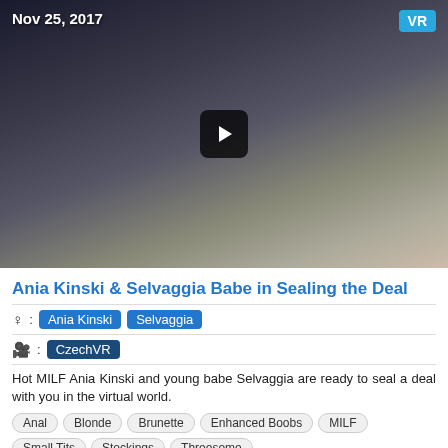[Figure (screenshot): Video thumbnail showing two women, dated Nov 25, 2017, with VR badge in top right corner and play button overlay]
Ania Kinski & Selvaggia Babe in Sealing the Deal
Ania Kinski  Selvaggia
CzechVR
Hot MILF Ania Kinski and young babe Selvaggia are ready to seal a deal with you in the virtual world.
Anal  Blonde  Brunette  Enhanced Boobs  MILF  Small Tits  Stockings  Threesome
[Figure (screenshot): Partial video thumbnail showing a person, dated Nov XX 2017, with HD badge]